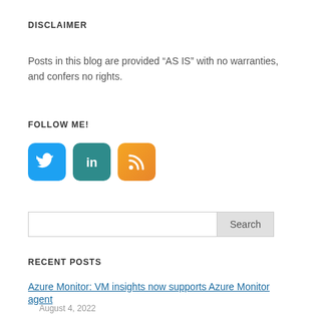DISCLAIMER
Posts in this blog are provided “AS IS” with no warranties, and confers no rights.
FOLLOW ME!
[Figure (infographic): Three social media icon buttons: Twitter (blue bird), LinkedIn (teal 'in'), and RSS feed (orange wave icon)]
Search
RECENT POSTS
Azure Monitor: VM insights now supports Azure Monitor agent
August 4, 2022